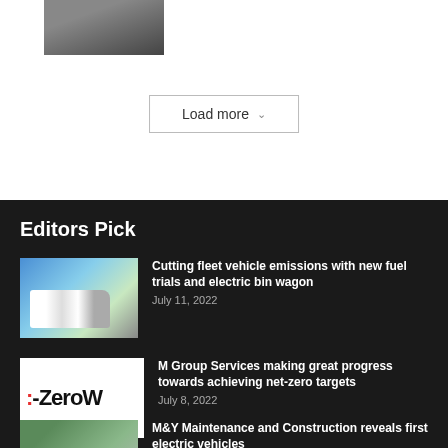[Figure (photo): Person in dark suit, cropped photo at top left]
Load more ▾
Editors Pick
[Figure (photo): White electric garbage/bin truck on a street]
Cutting fleet vehicle emissions with new fuel trials and electric bin wagon
July 11, 2022
[Figure (logo): Net-ZeroW logo on white background]
M Group Services making great progress towards achieving net-zero targets
July 8, 2022
[Figure (photo): Car partially visible among trees]
M&Y Maintenance and Construction reveals first electric vehicles